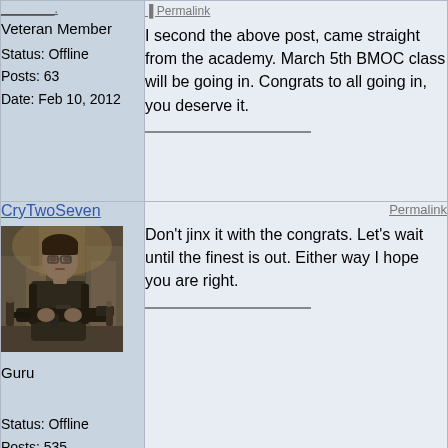Veteran Member
Status: Offline
Posts: 63
Date: Feb 10, 2012
Permalink
I second the above post, came straight from the academy. March 5th BMOC class will be going in. Congrats to all going in, you deserve it.
CryTwoSeven
[Figure (photo): Video game character holding a large weapon in a post-apocalyptic urban setting]
Guru
Status: Offline
Posts: 535
Date: Feb 10, 2012
Permalink
Don't jinx it with the congrats. Let's wait until the finest is out. Either way I hope you are right.